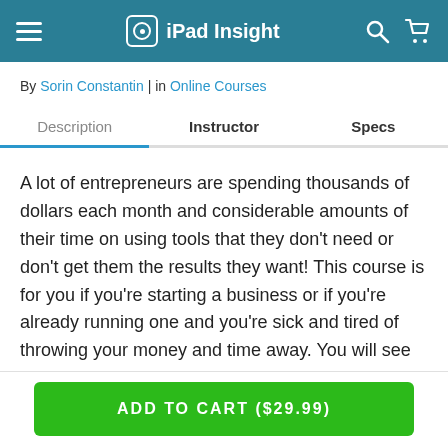iPad Insight
By Sorin Constantin | in Online Courses
Description  Instructor  Specs
A lot of entrepreneurs are spending thousands of dollars each month and considerable amounts of their time on using tools that they don't need or don't get them the results they want! This course is for you if you're starting a business or if you're already running one and you're sick and tired of throwing your money and time away. You will see what tools you can use for free to implement and manage successfully all of the crucial elements of your business
ADD TO CART ($29.99)